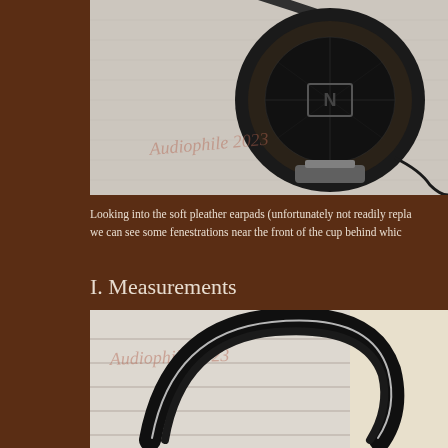[Figure (photo): Close-up photograph of a black over-ear headphone earpad resting on a woven fabric surface. The earcup shows a mesh grille with an 'N' logo visible on the black leather padding.]
Looking into the soft pleather earpads (unfortunately not readily repla... we can see some fenestrations near the front of the cup behind whic...
I. Measurements
[Figure (photo): Photograph of a black headphone headband resting on stacked books or papers. The headband is black with a white accent line visible, set against a light beige background.]